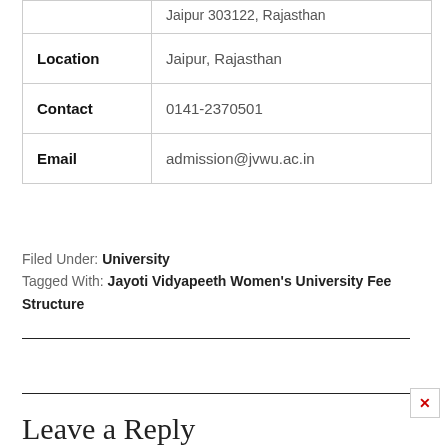| Field | Value |
| --- | --- |
|  | Jaipur 303122, Rajasthan |
| Location | Jaipur, Rajasthan |
| Contact | 0141-2370501 |
| Email | admission@jvwu.ac.in |
Filed Under: University
Tagged With: Jayoti Vidyapeeth Women's University Fee Structure
Leave a Reply